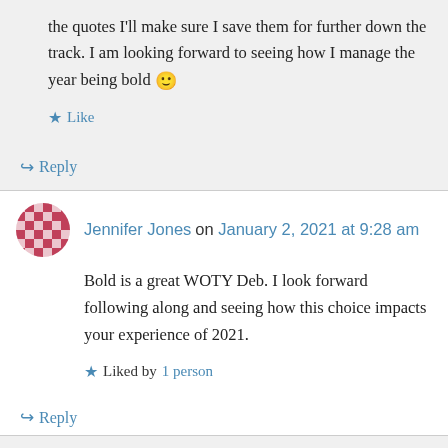the quotes I'll make sure I save them for further down the track. I am looking forward to seeing how I manage the year being bold 🙂
Like
↪ Reply
Jennifer Jones on January 2, 2021 at 9:28 am
Bold is a great WOTY Deb. I look forward following along and seeing how this choice impacts your experience of 2021.
Liked by 1 person
↪ Reply